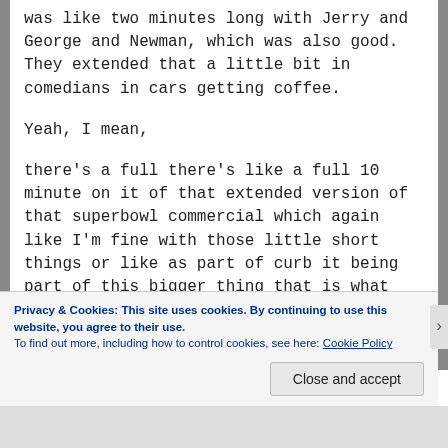was like two minutes long with Jerry and George and Newman, which was also good. They extended that a little bit in comedians in cars getting coffee.
Yeah, I mean,
there's a full there's like a full 10 minute on it of that extended version of that superbowl commercial which again like I'm fine with those little short things or like as part of curb it being part of this bigger thing that is what they're doing and they kind of poke fun at the idea of doing it
Privacy & Cookies: This site uses cookies. By continuing to use this website, you agree to their use.
To find out more, including how to control cookies, see here: Cookie Policy
Close and accept